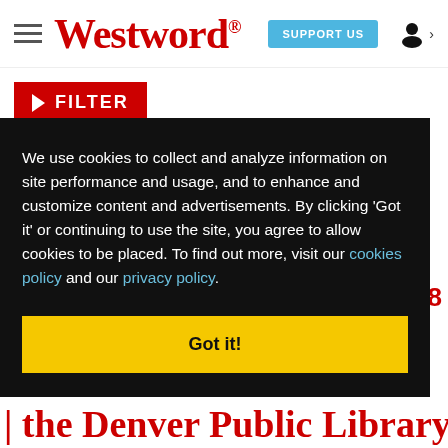Westword — SUPPORT US
▶ FILTER
We use cookies to collect and analyze information on site performance and usage, and to enhance and customize content and advertisements. By clicking 'Got it' or continuing to use the site, you agree to allow cookies to be placed. To find out more, visit our cookies policy and our privacy policy.
Got it!
the Denver Public Library